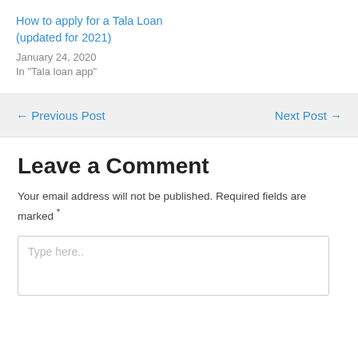How to apply for a Tala Loan (updated for 2021)
January 24, 2020
In "Tala loan app"
← Previous Post
Next Post →
Leave a Comment
Your email address will not be published. Required fields are marked *
Type here..